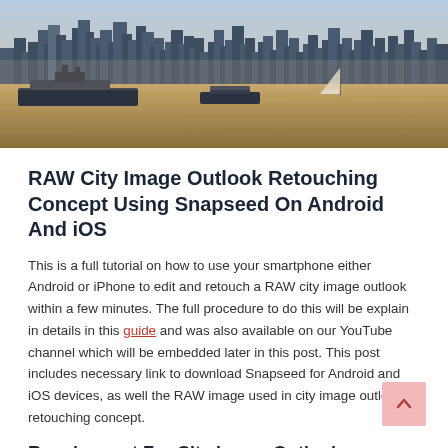[Figure (photo): Aerial/waterfront photo of a city skyline (likely New York) with ships and boats on the water, tall buildings and skyscrapers in the background. Warm golden-brown toned image.]
RAW City Image Outlook Retouching Concept Using Snapseed On Android And iOS
This is a full tutorial on how to use your smartphone either Android or iPhone to edit and retouch a RAW city image outlook within a few minutes. The full procedure to do this will be explain in details in this guide and was also available on our YouTube channel which will be embedded later in this post. This post includes necessary link to download Snapseed for Android and iOS devices, as well the RAW image used in city image outlook retouching concept.
Requirement For City Image Outlook Retouching Concept